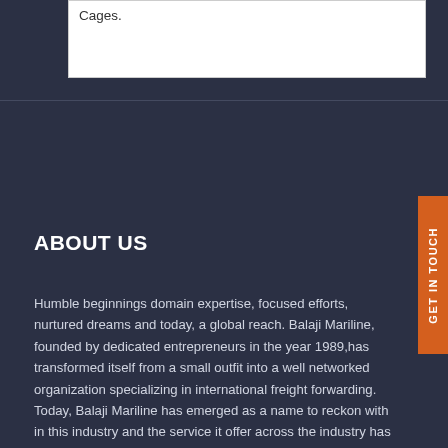Cages.
ABOUT US
Humble beginnings domain expertise, focused efforts, nurtured dreams and today, a global reach. Balaji Mariline, founded by dedicated entrepreneurs in the year 1989,has transformed itself from a small outfit into a well networked organization specializing in international freight forwarding. Today, Balaji Mariline has emerged as a name to reckon with in this industry and the service it offer across the industry has set high standard. Balaji Mariline has strategically established operations across India covering many important cities and all the metro centres.
ACTIVITIES